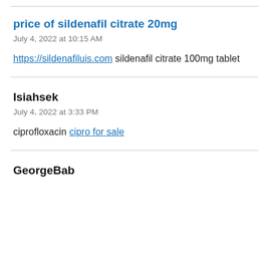price of sildenafil citrate 20mg
July 4, 2022 at 10:15 AM
https://sildenafiluis.com sildenafil citrate 100mg tablet
Isiahsek
July 4, 2022 at 3:33 PM
ciprofloxacin cipro for sale
GeorgeBab